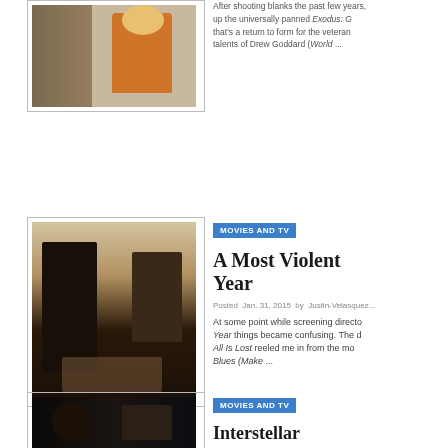After shooting blanks the past few years, followed up the universally panned Exodus: G... that's a return to form for the veteran... talents of Drew Goddard (World ...
[Figure (photo): Movie still of astronaut in orange suit on Mars-like terrain]
[Figure (photo): Movie still of two people facing each other in a kitchen scene from A Most Violent Year]
MOVIES AND TV
A Most Violent Year
Posted Jan. 31, 2015 by Justin-Velasquez...
At some point while screening director... Year things became confusing. The d... All Is Lost reeled me in from the mom... Blues (Make ...
[Figure (photo): Movie still of two people from Interstellar]
MOVIES AND TV
Interstellar
Posted Nov. 9, 2014 by Justin-Velasquez...